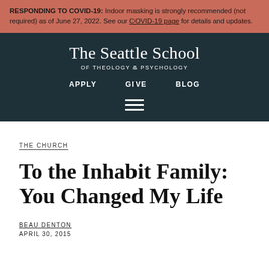RESPONDING TO COVID-19: Indoor masking is strongly recommended (not required) as of June 27, 2022. See our COVID-19 page for details and updates.
[Figure (logo): The Seattle School of Theology & Psychology logo with navigation links: APPLY, GIVE, BLOG, and a hamburger menu icon, on a dark teal background.]
THE CHURCH
To the Inhabit Family: You Changed My Life
BEAU DENTON
APRIL 30, 2015